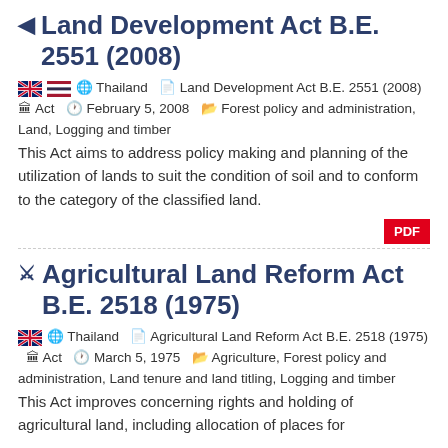Land Development Act B.E. 2551 (2008)
Thailand   Land Development Act B.E. 2551 (2008)   Act   February 5, 2008   Forest policy and administration, Land, Logging and timber
This Act aims to address policy making and planning of the utilization of lands to suit the condition of soil and to conform to the category of the classified land.
Agricultural Land Reform Act B.E. 2518 (1975)
Thailand   Agricultural Land Reform Act B.E. 2518 (1975)   Act   March 5, 1975   Agriculture, Forest policy and administration, Land tenure and land titling, Logging and timber
This Act improves concerning rights and holding of agricultural land, including allocation of places for